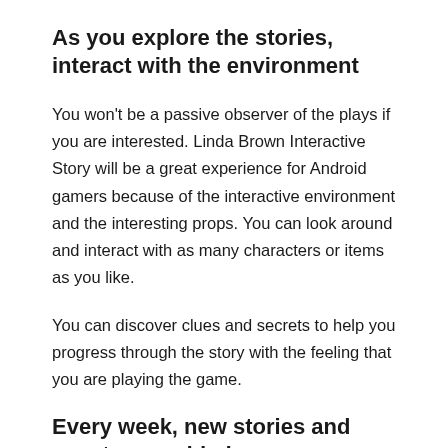As you explore the stories, interact with the environment
You won't be a passive observer of the plays if you are interested. Linda Brown Interactive Story will be a great experience for Android gamers because of the interactive environment and the interesting props. You can look around and interact with as many characters or items as you like.
You can discover clues and secrets to help you progress through the story with the feeling that you are playing the game.
Every week, new stories and events are added